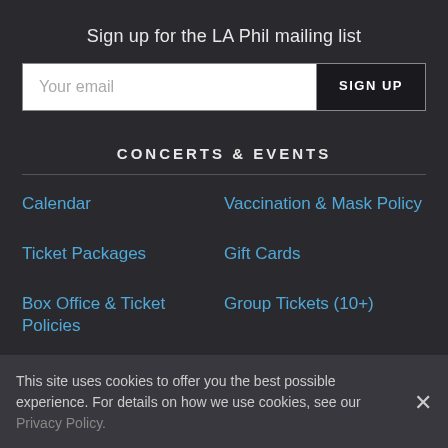Sign up for the LA Phil mailing list
Your email | SIGN UP
CONCERTS & EVENTS
Calendar
Vaccination & Mask Policy
Ticket Packages
Gift Cards
Box Office & Ticket Policies
Group Tickets (10+)
Seating Chart
This site uses cookies to offer you the best possible experience. For details on how we use cookies, see our Privacy Policy.